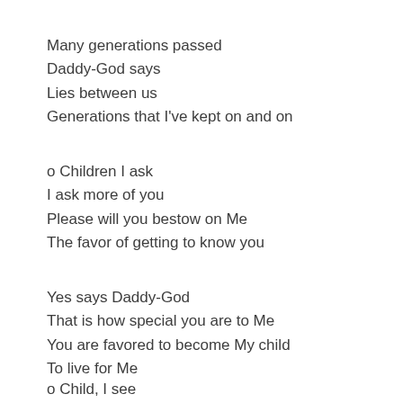Many generations passed
Daddy-God says
Lies between us
Generations that I've kept on and on
o Children I ask
I ask more of you
Please will you bestow on Me
The favor of getting to know you
Yes says Daddy-God
That is how special you are to Me
You are favored to become My child
To live for Me
o Child, I see
I see you with the broken past